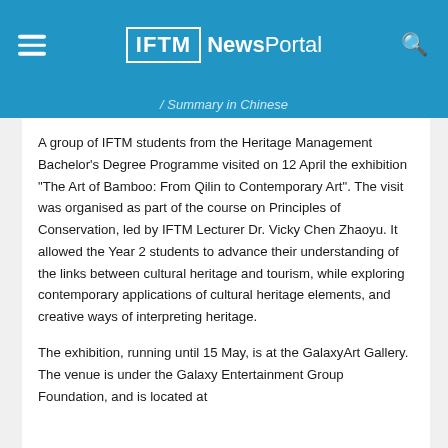IFTM News Portal
/ Summary in Chinese
A group of IFTM students from the Heritage Management Bachelor's Degree Programme visited on 12 April the exhibition “The Art of Bamboo: From Qilin to Contemporary Art”. The visit was organised as part of the course on Principles of Conservation, led by IFTM Lecturer Dr. Vicky Chen Zhaoyu. It allowed the Year 2 students to advance their understanding of the links between cultural heritage and tourism, while exploring contemporary applications of cultural heritage elements, and creative ways of interpreting heritage.
The exhibition, running until 15 May, is at the GalaxyArt Gallery. The venue is under the Galaxy Entertainment Group Foundation, and is located at